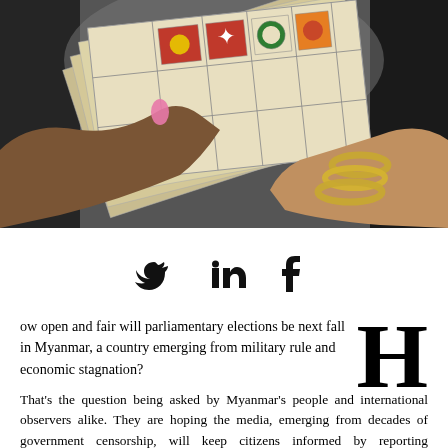[Figure (photo): A person with painted pink fingernails holding ballot papers with Myanmar text and colored party flags, with another person's hand visible wearing gold bracelets]
[Figure (infographic): Social media share icons: Twitter bird, LinkedIn 'in', Facebook 'f']
ow open and fair will parliamentary elections be next fall in Myanmar, a country emerging from military rule and economic stagnation?
That's the question being asked by Myanmar's people and international observers alike. They are hoping the media, emerging from decades of government censorship, will keep citizens informed by reporting thoroughly and fairly with no personal bias